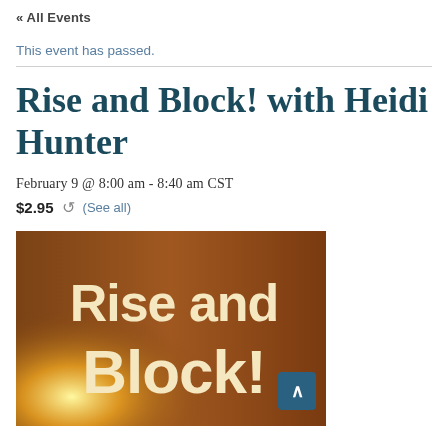« All Events
This event has passed.
Rise and Block! with Heidi Hunter
February 9 @ 8:00 am - 8:40 am CST
$2.95  ↺  (See all)
[Figure (photo): Promotional event image with warm brown gradient background and bold cream-colored text reading 'Rise and Block!' with a bright yellow-white light effect in the lower left corner.]